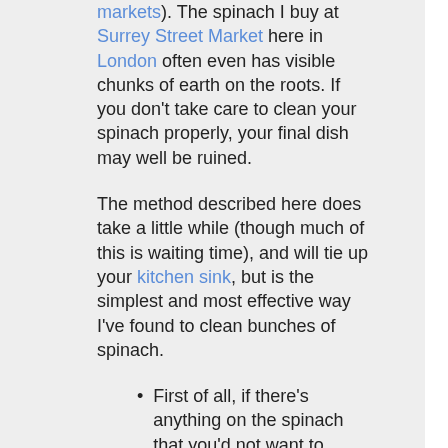markets). The spinach I buy at Surrey Street Market here in London often even has visible chunks of earth on the roots. If you don't take care to clean your spinach properly, your final dish may well be ruined.
The method described here does take a little while (though much of this is waiting time), and will tie up your kitchen sink, but is the simplest and most effective way I've found to clean bunches of spinach.
First of all, if there's anything on the spinach that you'd not want to wash down your sink, such as